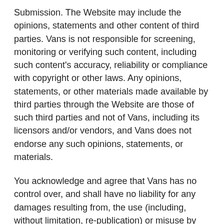Submission. The Website may include the opinions, statements and other content of third parties. Vans is not responsible for screening, monitoring or verifying such content, including such content's accuracy, reliability or compliance with copyright or other laws. Any opinions, statements, or other materials made available by third parties through the Website are those of such third parties and not of Vans, including its licensors and/or vendors, and Vans does not endorse any such opinions, statements, or materials.
You acknowledge and agree that Vans has no control over, and shall have no liability for any damages resulting from, the use (including, without limitation, re-publication) or misuse by any third party of any Submission.
FEEDBACK
Any questions, comments, suggestions, or other information